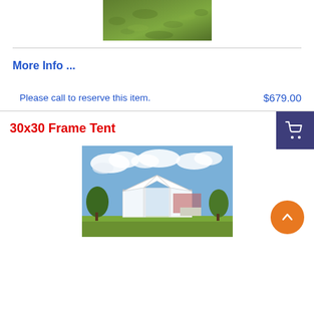[Figure (photo): Partial photo of grass/lawn (top portion of previous product image)]
More Info ...
Please call to reserve this item.
$679.00
30x30 Frame Tent
[Figure (photo): Photo of a 30x30 white frame tent set up outdoors on grass with trees and cloudy sky in background]
[Figure (other): Orange circular scroll-to-top button with upward arrow]